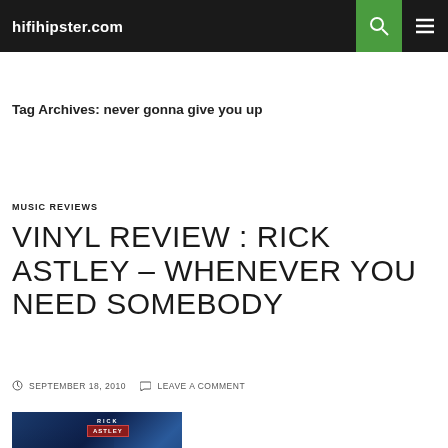hifihipster.com
Tag Archives: never gonna give you up
MUSIC REVIEWS
VINYL REVIEW : RICK ASTLEY – WHENEVER YOU NEED SOMEBODY
SEPTEMBER 18, 2010  LEAVE A COMMENT
[Figure (photo): Rick Astley – Whenever You Need Somebody album cover showing Rick Astley and the RCA Records label logo]